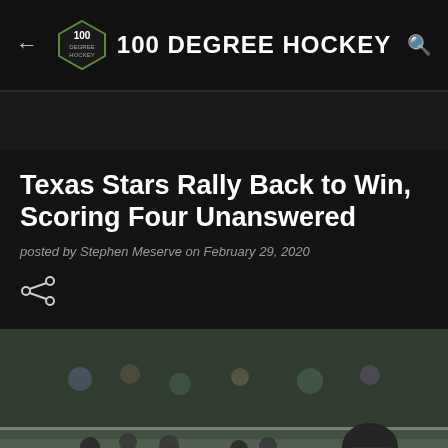100 DEGREE HOCKEY
Texas Stars Rally Back to Win, Scoring Four Unanswered
posted by Stephen Meserve on February 29, 2020
[Figure (photo): Hockey game photo showing players on ice, with a goalie in green jersey with 'OETTING' visible on the back, referees, and crowd in background]